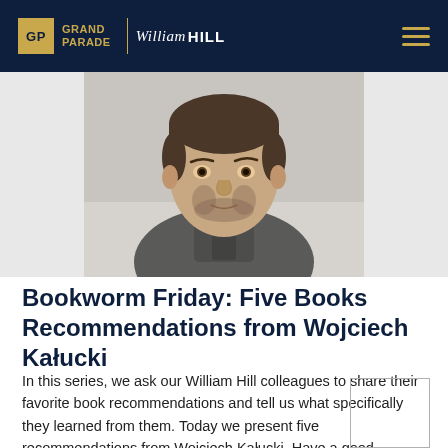GRAND PARADE | William Hill
[Figure (photo): Headshot photo of a young man with short dark hair and beard, wearing a grey collarless shirt, photographed against a light background.]
Bookworm Friday: Five Books Recommendations from Wojciech Kałucki
In this series, we ask our William Hill colleagues to share their favorite book recommendations and tell us what specifically they learned from them. Today we present five recommendations from Wojciech Kałucki. Have a good